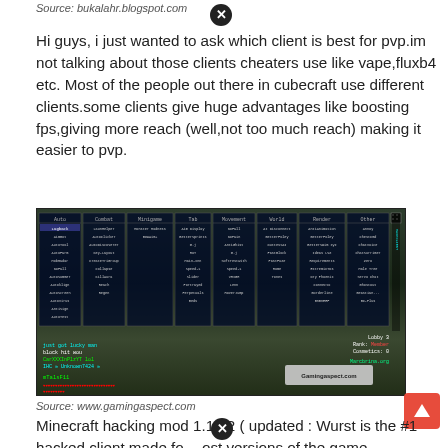Source: bukalahr.blogspot.com
Hi guys, i just wanted to ask which client is best for pvp.im not talking about those clients cheaters use like vape,fluxb4 etc. Most of the people out there in cubecraft use different clients.some clients give huge advantages like boosting fps,giving more reach (well,not too much reach) making it easier to pvp.
[Figure (screenshot): Minecraft game screenshot showing a hacked client menu with multiple columns of hacks/mods including Auto, Combat, Minigame, Tab, Movement, World, Render, Other categories. Chat is visible at bottom left showing player messages. HUD shows Lobby 3 info. Gamingaspect.com watermark visible.]
Source: www.gamingaspect.com
Minecraft hacking mod 1.12.2 ( updated : Wurst is the #1 hacked client made for most versions of the game,